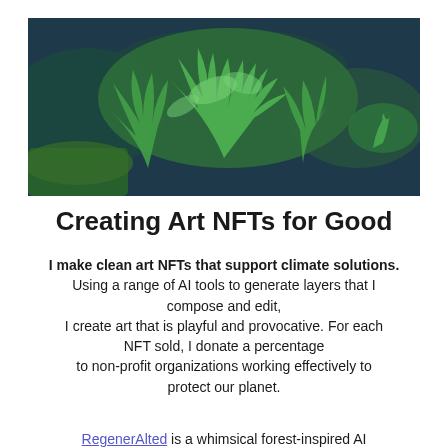[Figure (photo): A wide horizontal photograph of lush green tropical fern/plant foliage against a dark blue-green background]
Creating Art NFTs for Good
I make clean art NFTs that support climate solutions. Using a range of AI tools to generate layers that I compose and edit, I create art that is playful and provocative. For each NFT sold, I donate a percentage to non-profit organizations working effectively to protect our planet.
RegenerAlted is a whimsical forest-inspired AI